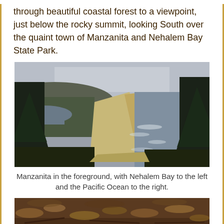through beautiful coastal forest to a viewpoint, just below the rocky summit, looking South over the quaint town of Manzanita and Nehalem Bay State Park.
[Figure (photo): Aerial view looking south from a mountain viewpoint, with dark conifer trees framing the sides, a long sandy beach in the center, Nehalem Bay visible to the left, and the Pacific Ocean to the right, under an overcast sky.]
Manzanita in the foreground, with Nehalem Bay to the left and the Pacific Ocean to the right.
[Figure (photo): Close-up photo of forest floor with dried leaves, pine needles, sticks, and organic debris on the ground.]